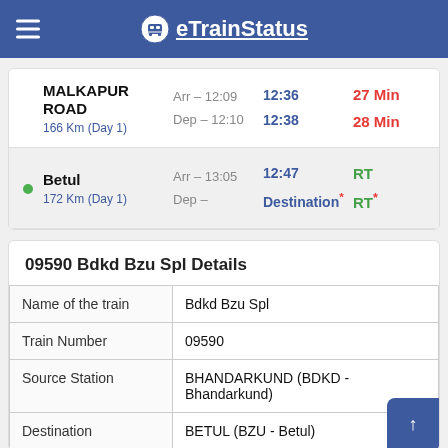eTrainStatus
| Station | Scheduled | Actual | Delay |
| --- | --- | --- | --- |
| MALKAPUR ROAD 166 Km (Day 1) | Arr - 12:09 / Dep - 12:10 | 12:36 / 12:38 | 27 Min / 28 Min |
| Betul 172 Km (Day 1) | Arr - 13:05 / Dep - | 12:47 / Destination* | RT / RT* |
09590 Bdkd Bzu Spl Details
| Field | Value |
| --- | --- |
| Name of the train | Bdkd Bzu Spl |
| Train Number | 09590 |
| Source Station | BHANDARKUND (BDKD - Bhandarkund) |
| Destination | BETUL (BZU - Betul) |